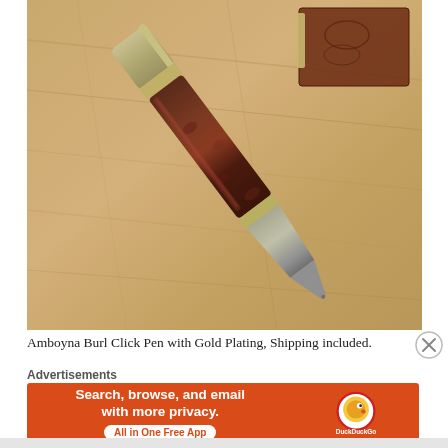[Figure (photo): A handcrafted Amboyna Burl ballpoint click pen with gold plating, placed diagonally on a wooden workbench surface. The pen features a dark reddish-brown burl wood barrel and gold/silver metallic ends. A small rectangular block of burl wood is visible in the background upper right.]
Amboyna Burl Click Pen with Gold Plating, Shipping included.
Advertisements
[Figure (infographic): DuckDuckGo advertisement banner. Orange background. Left side text: 'Search, browse, and email with more privacy.' with 'All in One Free App' button. Right side shows DuckDuckGo logo (duck icon in orange circle) with 'DuckDuckGo' text below.]